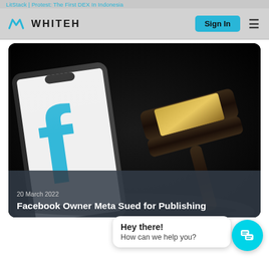LitStack | Protest: The First DEX In Indonesia
[Figure (logo): WHITEH logo with stylized W icon in cyan, followed by 'WHITEH' text, Sign In button, and hamburger menu]
[Figure (photo): Dark background photo showing a smartphone displaying the Facebook/Meta logo alongside a judge's wooden gavel with gold band]
20 March 2022
Facebook Owner Meta Sued for Publishing